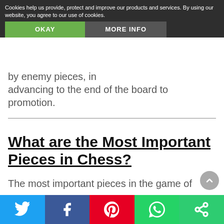Cookies help us provide, protect and improve our products and services. By using our website, you agree to our use of cookies.
OKAY   MORE INFO
by enemy ... advancing to the end of the board to promotion.
What are the Most Important Pieces in Chess?
The most important pieces in the game of